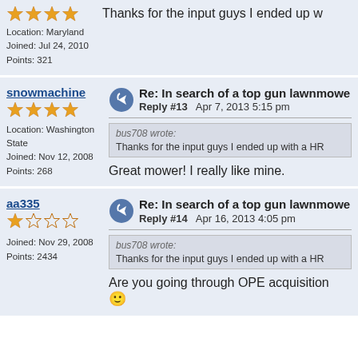Location: Maryland
Joined: Jul 24, 2010
Points: 321
Thanks for the input guys I ended up w...
snowmachine
Re: In search of a top gun lawnmowe...
Reply #13   Apr 7, 2013 5:15 pm
Location: Washington State
Joined: Nov 12, 2008
Points: 268
bus708 wrote:
Thanks for the input guys I ended up with a HR...
Great mower!  I really like mine.
aa335
Re: In search of a top gun lawnmowe...
Reply #14   Apr 16, 2013 4:05 pm
Joined: Nov 29, 2008
Points: 2434
bus708 wrote:
Thanks for the input guys I ended up with a HR...
Are you going through OPE acquisition... 🙂